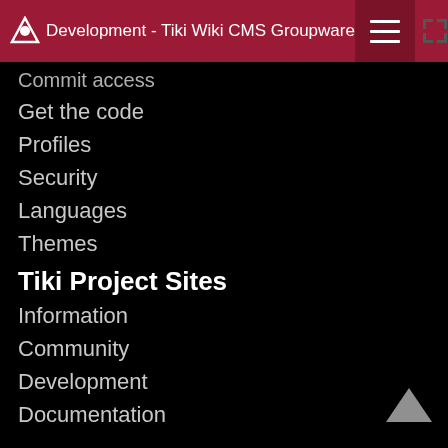Development - Tiki Wiki CMS Groupware
Commit access
Get the code
Profiles
Security
Languages
Themes
Tiki Project Sites
Information
Community
Development
Documentation
Themes
Profiles
Branding
Security
Networks